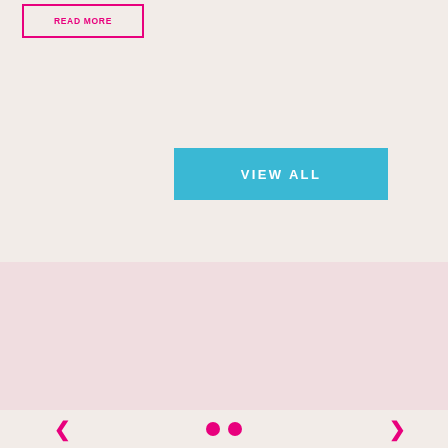READ MORE
VIEW ALL
[Figure (other): Pink banner/slideshow section with pause button]
< >